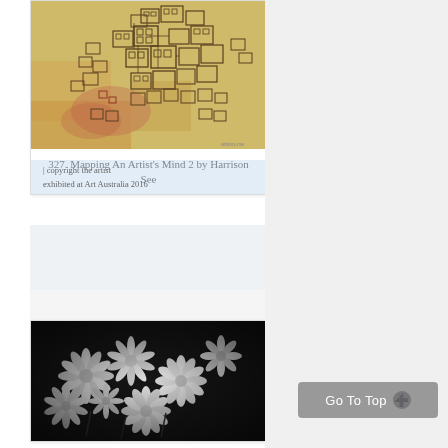[Figure (illustration): Artwork: 'Mapping An Artist's Mind 2' by Harrison See. An illustrated map-like drawing with small box/building shapes arranged in a network pattern, on a warm yellow-ochre textured background with pinkish-red accents.]
327. Mapping An Artist's Mind 2 by Harrison See
| copyright the artist
exhibited at Art Australia 2016
[Figure (photo): Artwork photo showing white daisy-like flowers on a dark background, appearing to be a vintage or toned photographic print with high contrast black and white treatment.]
Go To Top